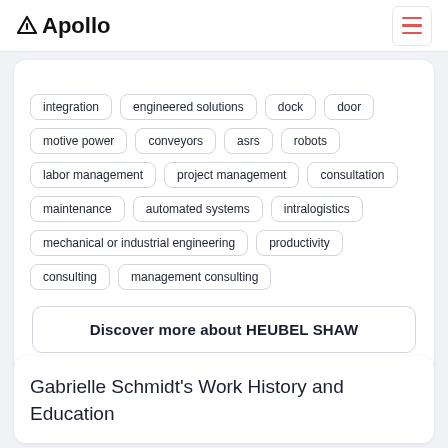Apollo
integration
engineered solutions
dock
door
motive power
conveyors
asrs
robots
labor management
project management
consultation
maintenance
automated systems
intralogistics
mechanical or industrial engineering
productivity
consulting
management consulting
Discover more about HEUBEL SHAW
Gabrielle Schmidt's Work History and Education